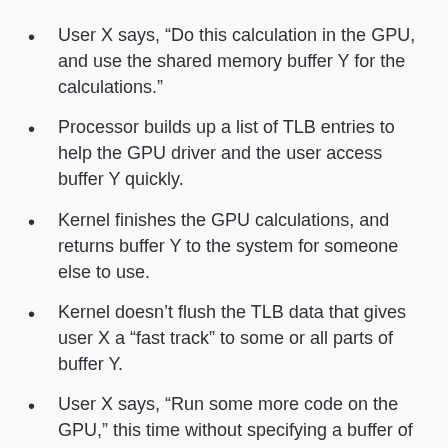User X says, “Do this calculation in the GPU, and use the shared memory buffer Y for the calculations.”
Processor builds up a list of TLB entries to help the GPU driver and the user access buffer Y quickly.
Kernel finishes the GPU calculations, and returns buffer Y to the system for someone else to use.
Kernel doesn’t flush the TLB data that gives user X a “fast track” to some or all parts of buffer Y.
User X says, “Run some more code on the GPU,” this time without specifying a buffer of its own.
At this point, even if the kernel maps User X’s second lot of GPU code onto a completely new, system-